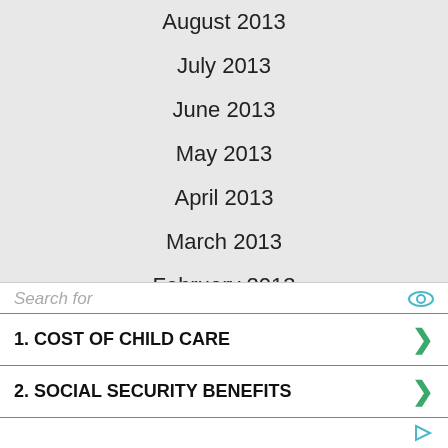August 2013
July 2013
June 2013
May 2013
April 2013
March 2013
February 2013
January 2013
December 2012
November 2012
October 2012
September 2012
August 2012
Search for
1.  COST OF CHILD CARE
2.  SOCIAL SECURITY BENEFITS